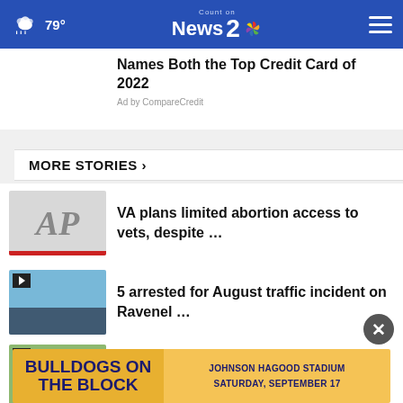79° | Count on News 2 NBC
Names Both the Top Credit Card of 2022
Ad by CompareCredit
MORE STORIES ›
VA plans limited abortion access to vets, despite …
5 arrested for August traffic incident on Ravenel …
Sewage overflow causes concern in West Ashley neighborhood
[Figure (screenshot): Advertisement banner: BULLDOGS ON THE BLOCK — JOHNSON HAGOOD STADIUM SATURDAY, SEPTEMBER 17]